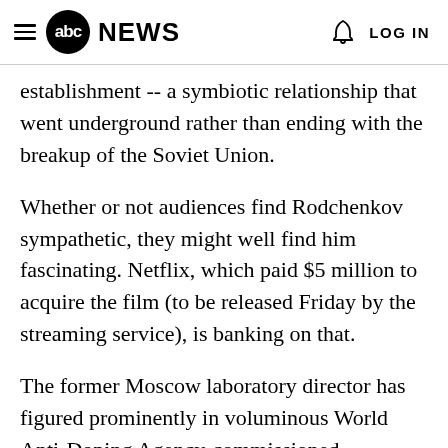abc NEWS  LOG IN
establishment -- a symbiotic relationship that went underground rather than ending with the breakup of the Soviet Union.
Whether or not audiences find Rodchenkov sympathetic, they might well find him fascinating. Netflix, which paid $5 million to acquire the film (to be released Friday by the streaming service), is banking on that.
The former Moscow laboratory director has figured prominently in voluminous World Anti-Doping Agency-commissioned investigative reports over the past two years. In a May 2016 story in The New York Times